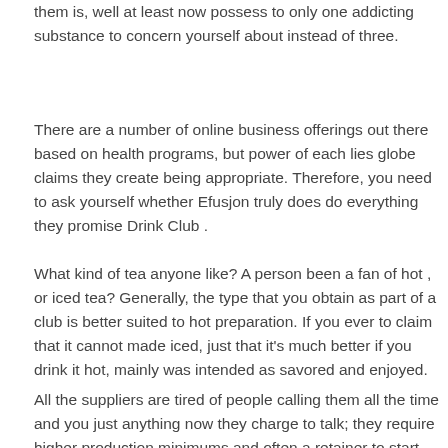them is, well at least now possess to only one addicting substance to concern yourself about instead of three.
There are a number of online business offerings out there based on health programs, but power of each lies globe claims they create being appropriate. Therefore, you need to ask yourself whether Efusjon truly does do everything they promise Drink Club .
What kind of tea anyone like? A person been a fan of hot , or iced tea? Generally, the type that you obtain as part of a club is better suited to hot preparation. If you ever to claim that it cannot made iced, just that it's much better if you drink it hot, mainly was intended as savored and enjoyed.
All the suppliers are tired of people calling them all the time and you just anything now they charge to talk; they require higher production minimums and often a retainer to start. Production